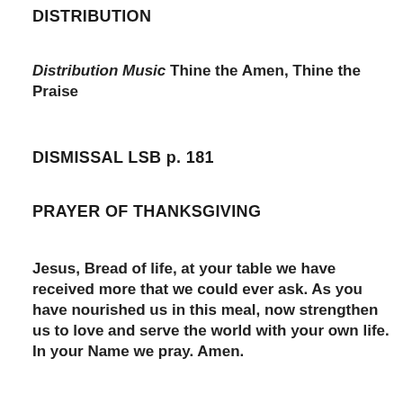DISTRIBUTION
Distribution Music Thine the Amen, Thine the Praise
DISMISSAL LSB p. 181
PRAYER OF THANKSGIVING
Jesus, Bread of life, at your table we have received more that we could ever ask. As you have nourished us in this meal, now strengthen us to love and serve the world with your own life. In your Name we pray. Amen.